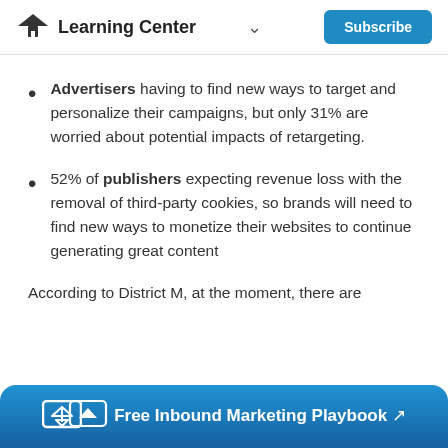Learning Center  Subscribe
Advertisers having to find new ways to target and personalize their campaigns, but only 31% are worried about potential impacts of retargeting.
52% of publishers expecting revenue loss with the removal of third-party cookies, so brands will need to find new ways to monetize their websites to continue generating great content
According to District M, at the moment, there are
Free Inbound Marketing Playbook ↗